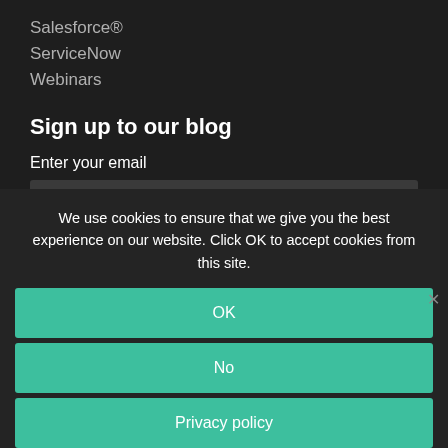Salesforce®
ServiceNow
Webinars
Sign up to our blog
Enter your email
youremail@address.com
I have read and understand all of the
We use cookies to ensure that we give you the best experience on our website. Click OK to accept cookies from this site.
OK
No
Privacy policy